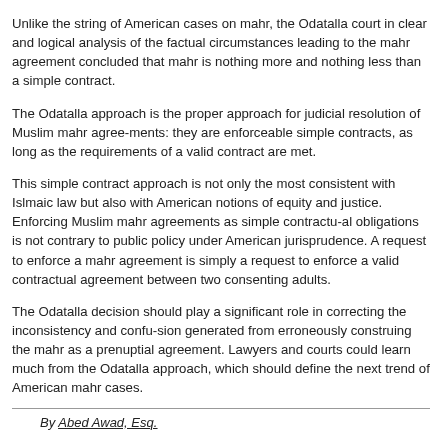Unlike the string of American cases on mahr, the Odatalla court in clear and logical analysis of the factual circumstances leading to the mahr agreement concluded that mahr is nothing more and nothing less than a simple contract.
The Odatalla approach is the proper approach for judicial resolution of Muslim mahr agree-ments: they are enforceable simple contracts, as long as the requirements of a valid contract are met.
This simple contract approach is not only the most consistent with Islmaic law but also with American notions of equity and justice. Enforcing Muslim mahr agreements as simple contractu-al obligations is not contrary to public policy under American jurisprudence. A request to enforce a mahr agreement is simply a request to enforce a valid contractual agreement between two consenting adults.
The Odatalla decision should play a significant role in correcting the inconsistency and confu-sion generated from erroneously construing the mahr as a prenuptial agreement. Lawyers and courts could learn much from the Odatalla approach, which should define the next trend of American mahr cases.
By Abed Awad, Esq.